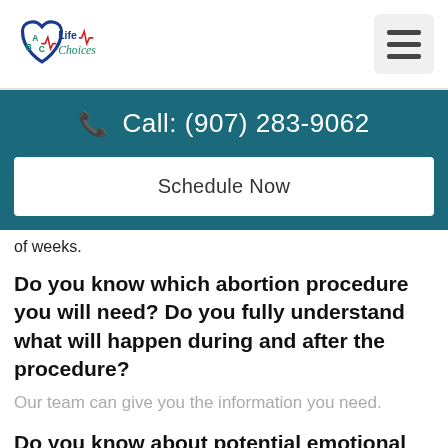[Figure (logo): ABC Life Choices logo with a heart shape in blue and the text 'ABC Life Choices' with red ECG lines]
[Figure (other): Hamburger menu button (three horizontal lines) on a light gray background]
Call: (907) 283-9062
Schedule Now
of weeks.
Do you know which abortion procedure you will need? Do you fully understand what will happen during and after the procedure?
Our team can give you the information you need.
Do you know about potential emotional